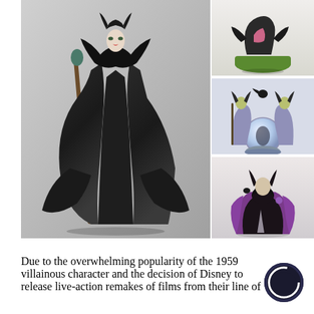[Figure (photo): Collage of Disney Maleficent figurines/collectibles. Large left image: tall black-robed Maleficent live-action movie figurine holding a staff against a grey background. Top right: small figurine of a dark creature on green grass base. Middle right: Maleficent animated-style figurine with raven and crystal ball snow globe. Bottom right: colorful Maleficent figurine with purple and black feathered dress.]
Due to the overwhelming popularity of the 1959 villainous character and the decision of Disney to release live-action remakes of films from their line of